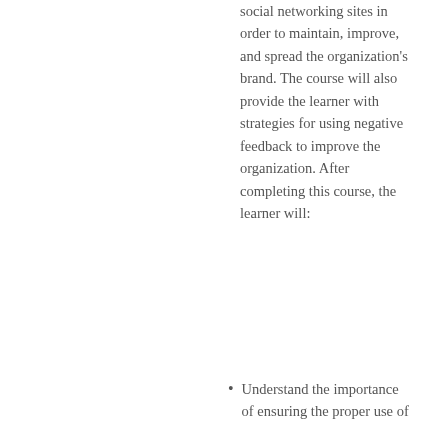social networking sites in order to maintain, improve, and spread the organization's brand. The course will also provide the learner with strategies for using negative feedback to improve the organization. After completing this course, the learner will:
Understand the importance of ensuring the proper use of